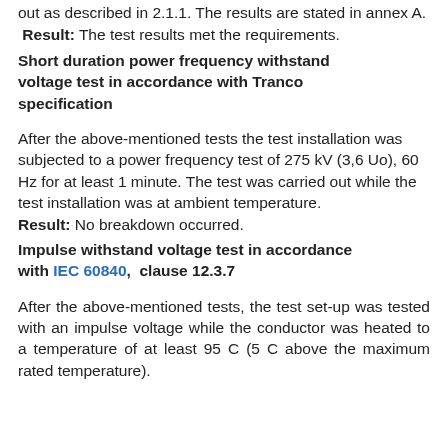out as described in 2.1.1. The results are stated in annex A.
Result: The test results met the requirements.
Short duration power frequency withstand voltage test in accordance with Tranco specification
After the above-mentioned tests the test installation was subjected to a power frequency test of 275 kV (3,6 Uo), 60 Hz for at least 1 minute. The test was carried out while the test installation was at ambient temperature.
Result: No breakdown occurred.
Impulse withstand voltage test in accordance with IEC 60840,  clause 12.3.7
After the above-mentioned tests, the test set-up was tested with an impulse voltage while the conductor was heated to a temperature of at least 95 C (5 C above the maximum rated temperature).